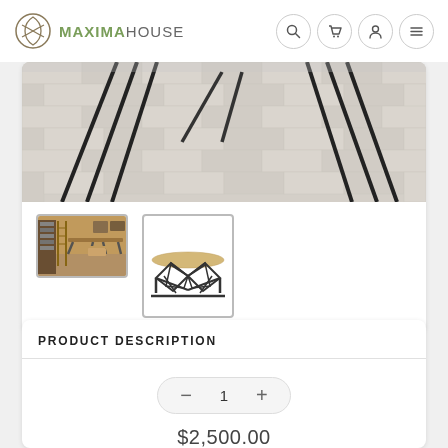[Figure (logo): MaximaHouse logo with spiral icon and text]
[Figure (photo): Product photo showing table legs on herringbone tile floor]
[Figure (photo): Thumbnail photo of dining room scene with table]
[Figure (photo): Thumbnail product photo showing geometric table base on white background]
PRODUCT DESCRIPTION
1
$2,500.00